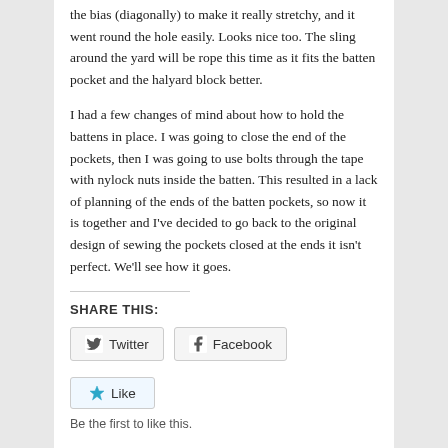the bias (diagonally) to make it really stretchy, and it went round the hole easily. Looks nice too. The sling around the yard will be rope this time as it fits the batten pocket and the halyard block better.
I had a few changes of mind about how to hold the battens in place. I was going to close the end of the pockets, then I was going to use bolts through the tape with nylock nuts inside the batten. This resulted in a lack of planning of the ends of the batten pockets, so now it is together and I've decided to go back to the original design of sewing the pockets closed at the ends it isn't perfect. We'll see how it goes.
SHARE THIS:
[Figure (infographic): Twitter and Facebook share buttons]
[Figure (infographic): Like button with star icon and 'Be the first to like this.' text]